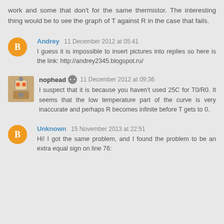work and some that don't for the same thermistor. The interesting thing would be to see the graph of T against R in the case that fails.
Andrey 11 December 2012 at 05:41
I guess it is impossible to insert pictures into replies so here is the link: http://andrey2345.blogspot.ru/
nophead 11 December 2012 at 09:36
I suspect that it is because you haven't used 25C for T0/R0. It seems that the low temperature part of the curve is very inaccurate and perhaps R becomes infinite before T gets to 0.
Unknown 15 November 2013 at 22:51
Hi! I got the same problem, and I found the problem to be an extra equal sign on line 76: